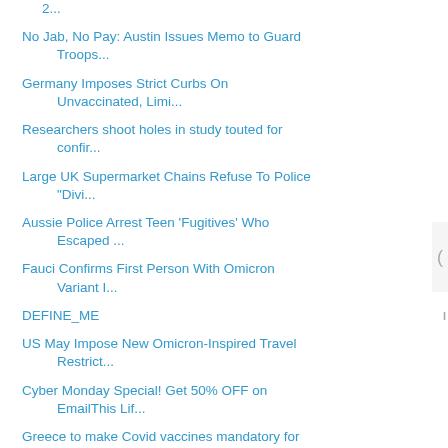2...
No Jab, No Pay: Austin Issues Memo to Guard Troops...
Germany Imposes Strict Curbs On Unvaccinated, Limi...
Researchers shoot holes in study touted for confir...
Large UK Supermarket Chains Refuse To Police "Divi...
Aussie Police Arrest Teen 'Fugitives' Who Escaped ...
Fauci Confirms First Person With Omicron Variant I...
DEFINE_ME
US May Impose New Omicron-Inspired Travel Restrict...
Cyber Monday Special! Get 50% OFF on EmailThis Lif...
Greece to make Covid vaccines mandatory for over-60s
BREAKING: Another Federal Judge Deals Blow To Bide...
BREAKING: Twitter BANS Sharing Images, Videos of '...